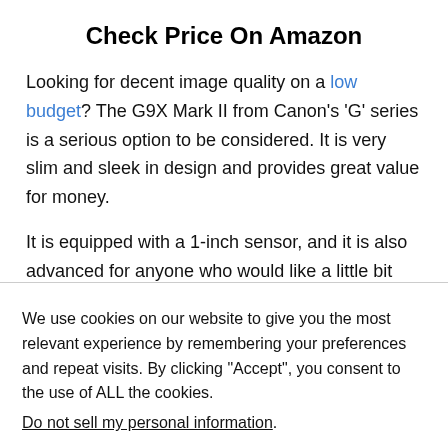Check Price On Amazon
Looking for decent image quality on a low budget? The G9X Mark II from Canon's 'G' series is a serious option to be considered. It is very slim and sleek in design and provides great value for money.
It is equipped with a 1-inch sensor, and it is also advanced for anyone who would like a little bit more out of their
We use cookies on our website to give you the most relevant experience by remembering your preferences and repeat visits. By clicking "Accept", you consent to the use of ALL the cookies.
Do not sell my personal information.